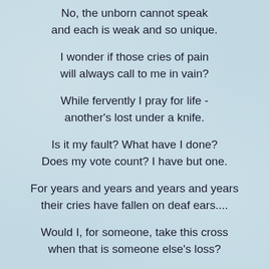No, the unborn cannot speak
and each is weak and so unique.
I wonder if those cries of pain
will always call to me in vain?
While fervently I pray for life -
another's lost under a knife.
Is it my fault? What have I done?
Does my vote count? I have but one.
For years and years and years and years
their cries have fallen on deaf ears....
Would I, for someone, take this cross
when that is someone else's loss?
So softens, as we wayward drift,
the echo's from His gracious gift.
Oh, some might say it's so absurd -